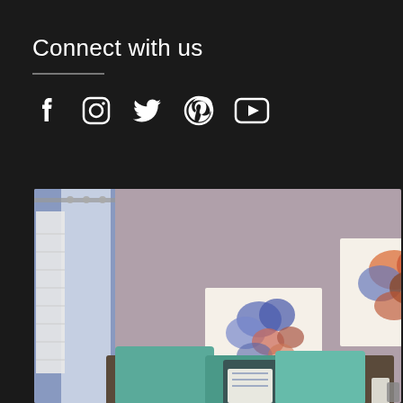Connect with us
[Figure (other): Social media icons: Facebook, Instagram, Twitter, Pinterest, YouTube]
[Figure (photo): Interior room photo showing a living room with teal/turquoise sofa cushions, grey-purple walls, two floral canvas paintings hanging on the wall, and a blue curtain/drape on the left side]